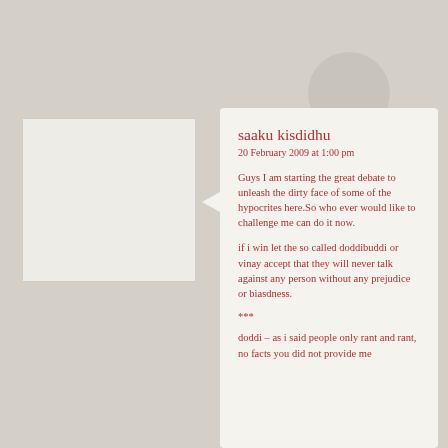saaku kisdidhu
20 February 2009 at 1:00 pm
Guys I am starting the great debate to unleash the dirty face of some of the hypocrites here.So who ever would like to challenge me can do it now.
if i win let the so called doddibuddi or vinay accept that they will never talk against any person without any prejudice or biasdness.
***
doddi – as i said people only rant and rant, no facts you did not provide me